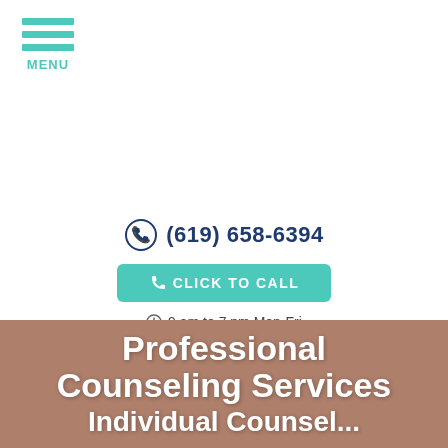[Figure (logo): Hamburger menu icon with three teal horizontal bars and MENU label below]
(619) 658-6394
CLICK TO CALL
9 am to 7 pm Mon-Fri
Professional Counseling Services Individual Counsel...